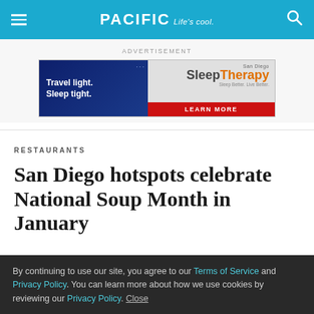PACIFIC Life's cool.
ADVERTISEMENT
[Figure (illustration): Advertisement banner for San Diego Sleep Therapy. Left side has dark blue background with white bold text 'Travel light. Sleep tight.' Right side shows 'San Diego SleepTherapy' branding with orange text and a red 'LEARN MORE' button.]
RESTAURANTS
San Diego hotspots celebrate National Soup Month in January
By continuing to use our site, you agree to our Terms of Service and Privacy Policy. You can learn more about how we use cookies by reviewing our Privacy Policy. Close